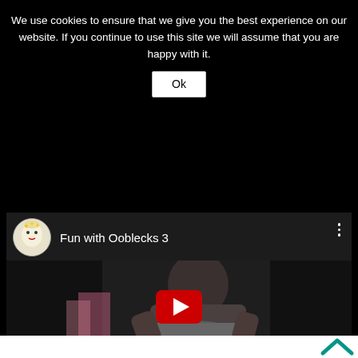We use cookies to ensure that we give you the best experience on our website. If you continue to use this site we will assume that you are happy with it.
Ok
[Figure (screenshot): YouTube video embed showing 'Fun with Ooblecks 3' with a channel icon (illustrated character), video title, three-dot menu, and a video thumbnail of a child mixing in a bowl with a red YouTube play button overlay.]